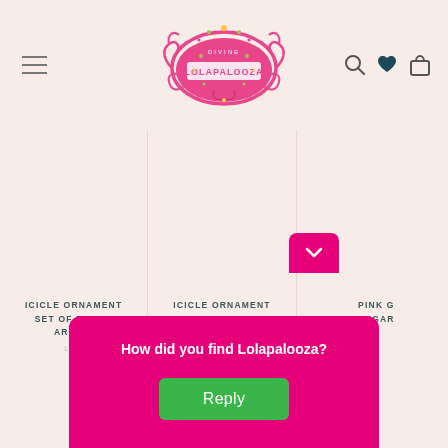[Figure (logo): Lolapalooza brand logo — ornate pink frame with decorative flourishes and the text LOLAPALOOZA in pink]
ICICLE ORNAMENT SET OF FOUR - ARCTIC
LOL
ICICLE ORNAMENT SET OF FOUR - DESERT
LOL
PINK G SUGAR
LOLAPAL
£12.
How did you find Lolapalooza?
Reply